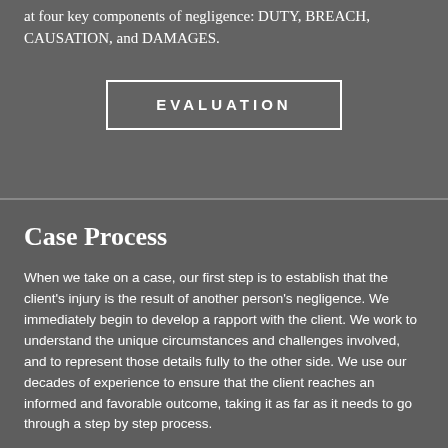at four key components of negligence: DUTY, BREACH, CAUSATION, and DAMAGES.
EVALUATION
Case Process
When we take on a case, our first step is to establish that the client's injury is the result of another person's negligence. We immediately begin to develop a rapport with the client. We work to understand the unique circumstances and challenges involved, and to represent those details fully to the other side. We use our decades of experience to ensure that the client reaches an informed and favorable outcome, taking it as far as it needs to go through a step by step process.